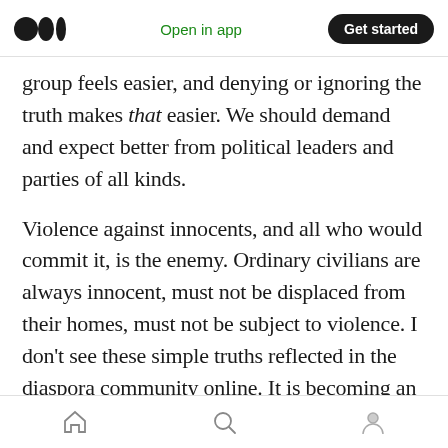Medium logo | Open in app | Get started
group feels easier, and denying or ignoring the truth makes that easier. We should demand and expect better from political leaders and parties of all kinds.
Violence against innocents, and all who would commit it, is the enemy. Ordinary civilians are always innocent, must not be displaced from their homes, must not be subject to violence. I don’t see these simple truths reflected in the diaspora community online. It is becoming an existential issue for all of us, who have our identities rooted in Ethiopia. We all know for a
Home | Search | Profile